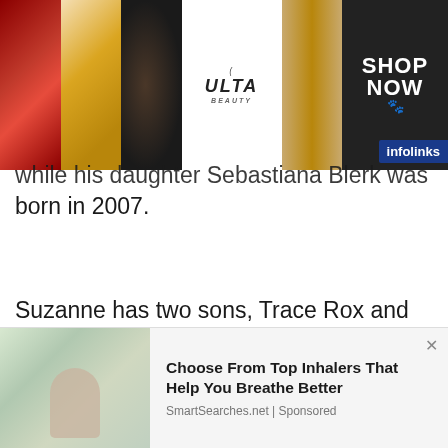[Figure (photo): ULTA Beauty advertisement banner with makeup images: red lips, makeup brush, eye with smoky makeup, ULTA logo, eye with dramatic makeup, and SHOP NOW text]
while his daughter Sebastiana Blerk was born in 2007.
Suzanne has two sons, Trace Rox and Presley Harrelson, from her previous relationship. The former model has been an excellent mother to all five children, and the whole family lives together in Los Angeles now.
[Figure (photo): Partial view of a webpage showing people, partially obscured by a scrollbar navigation element]
[Figure (photo): Advertisement: Choose From Top Inhalers That Help You Breathe Better - SmartSearches.net | Sponsored, showing a woman using an inhaler]